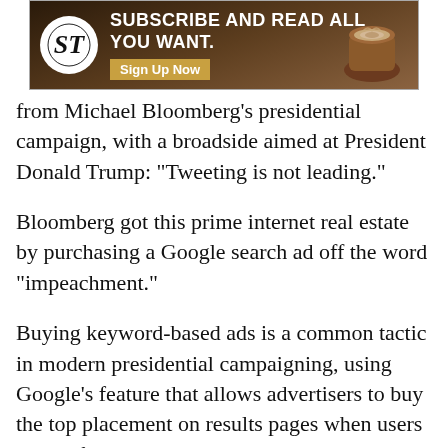[Figure (other): Advertisement banner for a subscription service showing 'SUBSCRIBE AND READ ALL YOU WANT. Sign Up Now' with a newspaper logo and coffee cup image.]
from Michael Bloomberg’s presidential campaign, with a broadside aimed at President Donald Trump: “Tweeting is not leading.”
Bloomberg got this prime internet real estate by purchasing a Google search ad off the word “impeachment.”
Buying keyword-based ads is a common tactic in modern presidential campaigning, using Google’s feature that allows advertisers to buy the top placement on results pages when users search for a particular word or phrase. The ads appear similar to regular search results, though they carry an “ad” label with a “paid for by” disclaimer underneath.
Campaigns have been utilizing this tactic...